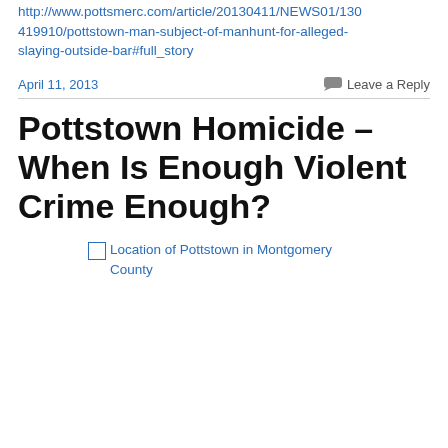http://www.pottsmerc.com/article/20130411/NEWS01/130419910/pottstown-man-subject-of-manhunt-for-alleged-slaying-outside-bar#full_story
April 11, 2013
Leave a Reply
Pottstown Homicide – When Is Enough Violent Crime Enough?
[Figure (photo): Broken image placeholder with alt text: Location of Pottstown in Montgomery County]